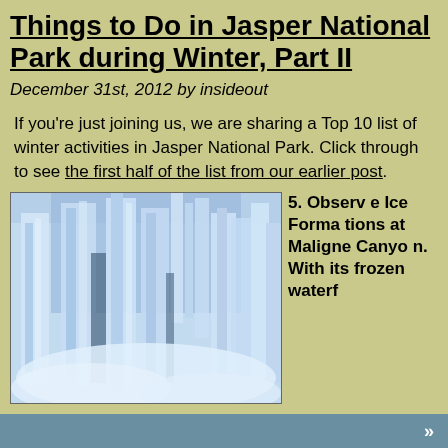Things to Do in Jasper National Park during Winter, Part II
December 31st, 2012 by insideout
If you're just joining us, we are sharing a Top 10 list of winter activities in Jasper National Park. Click through to see the first half of the list from our earlier post.
[Figure (photo): Ice formations at Maligne Canyon - frozen waterfall with blue and white icicles]
5. Observe Ice Formations at Maligne Canyon. With its frozen waterf